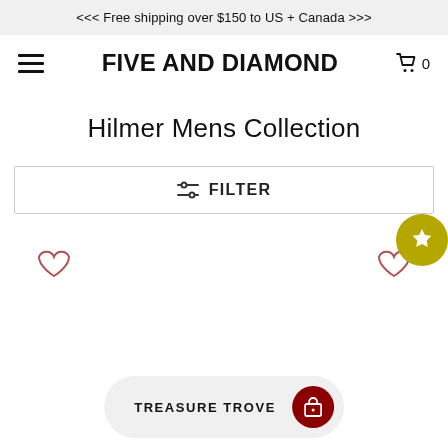<<< Free shipping over $150 to US + Canada >>>
FIVE AND DIAMOND
Hilmer Mens Collection
FILTER